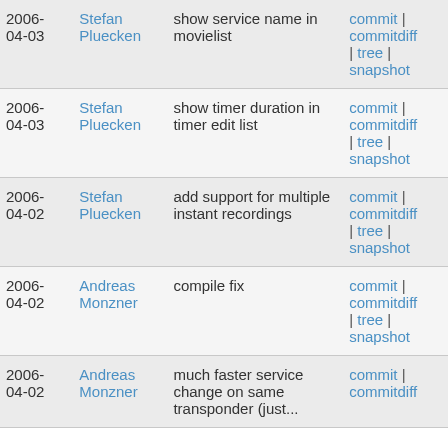| Date | Author | Message | Links |
| --- | --- | --- | --- |
| 2006-04-03 | Stefan Pluecken | show service name in movielist | commit | commitdiff | tree | snapshot |
| 2006-04-03 | Stefan Pluecken | show timer duration in timer edit list | commit | commitdiff | tree | snapshot |
| 2006-04-02 | Stefan Pluecken | add support for multiple instant recordings | commit | commitdiff | tree | snapshot |
| 2006-04-02 | Andreas Monzner | compile fix | commit | commitdiff | tree | snapshot |
| 2006-04-02 | Andreas Monzner | much faster service change on same transponder (just... | commit | commitdiff |